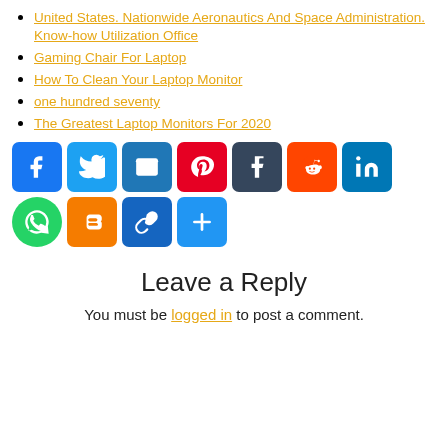United States. Nationwide Aeronautics And Space Administration. Know-how Utilization Office
Gaming Chair For Laptop
How To Clean Your Laptop Monitor
one hundred seventy
The Greatest Laptop Monitors For 2020
[Figure (infographic): Row of social media share buttons: Facebook (blue), Twitter (light blue), Email (blue), Pinterest (red), Tumblr (dark blue/navy), Reddit (orange), LinkedIn (blue), WhatsApp (green circle), then second row: Blogger (orange), Copy Link (dark blue), More/Share (blue)]
Leave a Reply
You must be logged in to post a comment.